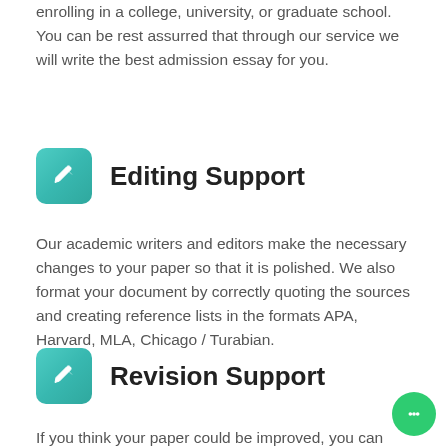enrolling in a college, university, or graduate school. You can be rest assurred that through our service we will write the best admission essay for you.
[Figure (illustration): Teal/turquoise rounded square icon with a white pencil/edit symbol]
Editing Support
Our academic writers and editors make the necessary changes to your paper so that it is polished. We also format your document by correctly quoting the sources and creating reference lists in the formats APA, Harvard, MLA, Chicago / Turabian.
[Figure (illustration): Teal/turquoise rounded square icon with a white pencil/edit symbol]
Revision Support
If you think your paper could be improved, you can request a review. In this case, your paper will be